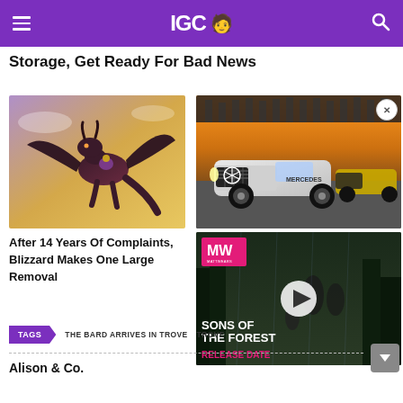IGC
Storage, Get Ready For Bad News
[Figure (screenshot): A purple dragon creature flying in a fantasy game screenshot (World of Warcraft style), set against a golden sky background.]
After 14 Years Of Complaints, Blizzard Makes One Large Removal
[Figure (photo): Racing cars including a Mercedes-AMG GT at a motorsport track with sunset lighting.]
[Figure (screenshot): Sons of the Forest video thumbnail with MW logo, play button, and text: SONS OF THE FOREST RELEASE DATE on a dark forest background.]
THE BARD ARRIVES IN TROVE   TROVE
Alison & Co.